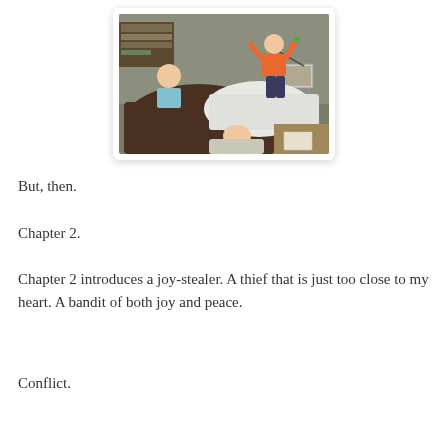[Figure (photo): Three children playing energetically in a bedroom. One child wearing an orange shirt stands on the bed with arms raised, another child in a light blue shirt is on the left, and a third child in a white shirt is lying in the foreground. A bookshelf and framed pictures are visible in the background.]
But, then.
Chapter 2.
Chapter 2 introduces a joy-stealer. A thief that is just too close to my heart. A bandit of both joy and peace.
Conflict.